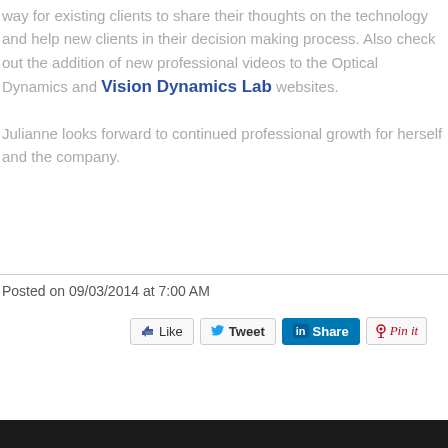way for existing clients to share their thoughts on the technology and help new clients in their decision making process. Also check out the addition of new professional videos to the Optical Dynamics and Vision Dynamics Lab websites.
Julianne looks forward to continued professional growth for herself and the company.
Posted on 09/03/2014 at 7:00 AM
[Figure (other): Social sharing buttons: Like (Facebook), Tweet (Twitter), Share (LinkedIn), Pin it (Pinterest)]